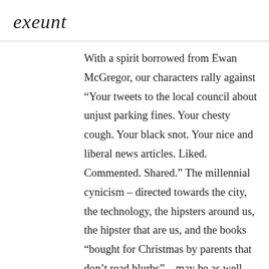exeunt
With a spirit borrowed from Ewan McGregor, our characters rally against “Your tweets to the local council about unjust parking fines. Your chesty cough. Your black snot. Your nice and liberal news articles. Liked. Commented. Shared.” The millennial cynicism – directed towards the city, the technology, the hipsters around us, the hipster that are us, and the books “bought for Christmas by parents that don’t read blurbs” – may be as well trod as Urban Outfitters’ carpet, but the originality and vibrancy of this collaboration between Brad Birch and Kenneth Emson doesn’t disappoint the critic